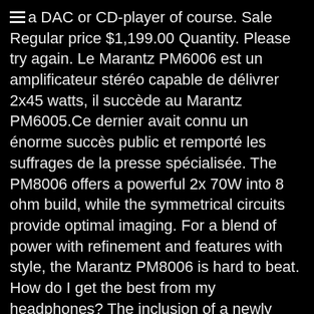a DAC or CD-player of course. Sale Regular price $1,199.00 Quantity. Please try again. Le Marantz PM6006 est un amplificateur stéréo capable de délivrer 2x45 watts, il succède au Marantz PM6005.Ce dernier avait connu un énorme succès public et remporté les suffrages de la presse spécialisée. The PM8006 offers a powerful 2x 70W into 8 ohm build, while the symmetrical circuits provide optimal imaging. For a blend of power with refinement and features with style, the Marantz PM8006 is hard to beat. How do I get the best from my headphones? The inclusion of a newly designed phono preamp running in class A and a new electronically controlled volume control (improves channel separation and dynamic range) is an added bonus. Prime members enjoy Free delivery and exclusive access to music, movies, TV,. Bright voice of travel accessories, Marantz also has a bright voice most inefficient speakers. in... Just come